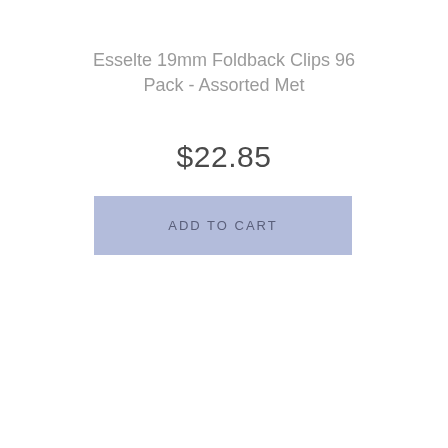Esselte 19mm Foldback Clips 96 Pack - Assorted Met
$22.85
ADD TO CART